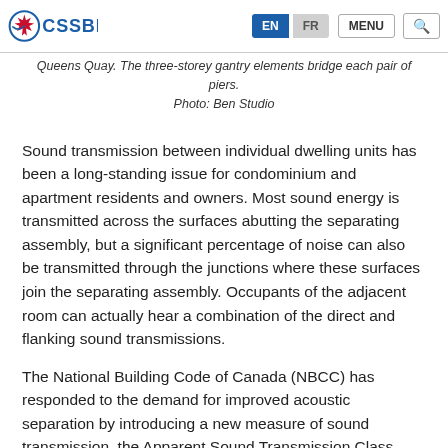CSSBI — EN | FR | MENU | Search
Queens Quay. The three-storey gantry elements bridge each pair of piers. Photo: Ben Studio
Sound transmission between individual dwelling units has been a long-standing issue for condominium and apartment residents and owners. Most sound energy is transmitted across the surfaces abutting the separating assembly, but a significant percentage of noise can also be transmitted through the junctions where these surfaces join the separating assembly. Occupants of the adjacent room can actually hear a combination of the direct and flanking sound transmissions.
The National Building Code of Canada (NBCC) has responded to the demand for improved acoustic separation by introducing a new measure of sound transmission, the Apparent Sound Transmission Class (ASTC). The previous method to assess acoustic performance only considered the